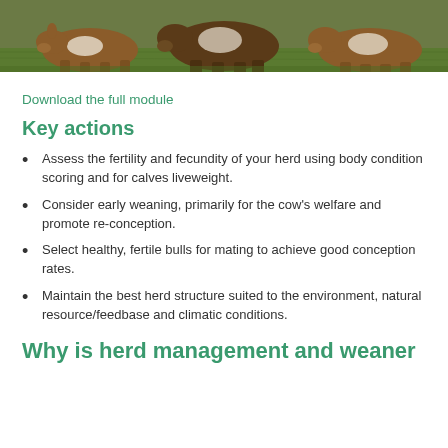[Figure (photo): Herd of cattle (brown and white) standing in a green grassy field, viewed from front at low angle]
Download the full module
Key actions
Assess the fertility and fecundity of your herd using body condition scoring and for calves liveweight.
Consider early weaning, primarily for the cow's welfare and promote re-conception.
Select healthy, fertile bulls for mating to achieve good conception rates.
Maintain the best herd structure suited to the environment, natural resource/feedbase and climatic conditions.
Why is herd management and weaner